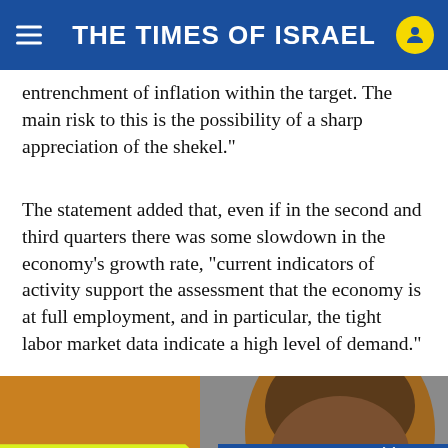THE TIMES OF ISRAEL
entrenchment of inflation within the target. The main risk to this is the possibility of a sharp appreciation of the shekel.”
The statement added that, even if in the second and third quarters there was some slowdown in the economy’s growth rate, “current indicators of activity support the assessment that the economy is at full employment, and in particular, the tight labor market data indicate a high level of demand.”
[Figure (photo): Partial view of a bald man wearing glasses, photographed indoors with a warm orange/brown background. An advertisement banner overlays the bottom of the image: left side reads 'JOIN OUR COMMUNITY' in bold on a yellow-green background; right side reads 'Support ToI and remove ads' on a blue background.]